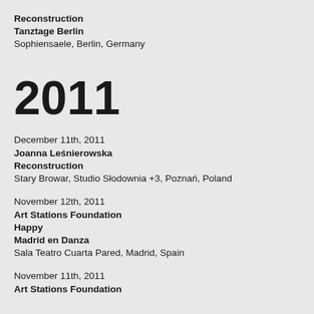Reconstruction
Tanztage Berlin
Sophiensaele, Berlin, Germany
2011
December 11th, 2011
Joanna Leśnierowska Reconstruction
Stary Browar, Studio Słodownia +3, Poznań, Poland
November 12th, 2011
Art Stations Foundation Happy Madrid en Danza
Sala Teatro Cuarta Pared, Madrid, Spain
November 11th, 2011
Art Stations Foundation